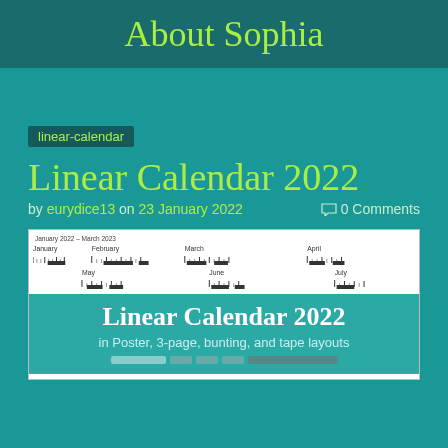About Sophia
linear-calendar
Linear Calendar 2022
by eurydice13 on 23 January 2022   0 Comments
[Figure (other): Preview image of Linear Calendar 2022 showing calendar strips and overlay text: Linear Calendar 2022 in Poster, 3-page, bunting, and tape layouts]